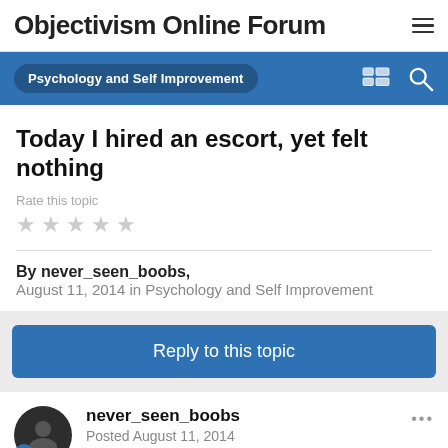Objectivism Online Forum
Psychology and Self Improvement
Today I hired an escort, yet felt nothing
Rate this topic
By never_seen_boobs,
August 11, 2014 in Psychology and Self Improvement
Reply to this topic
never_seen_boobs
Posted August 11, 2014